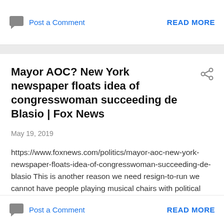Post a Comment    READ MORE
Mayor AOC? New York newspaper floats idea of congresswoman succeeding de Blasio | Fox News
May 19, 2019
https://www.foxnews.com/politics/mayor-aoc-new-york-newspaper-floats-idea-of-congresswoman-succeeding-de-blasio This is another reason we need resign-to-run we cannot have people playing musical chairs with political offices.  See  https://ballotpedia.org/Resign-to-run_law  …
Post a Comment    READ MORE